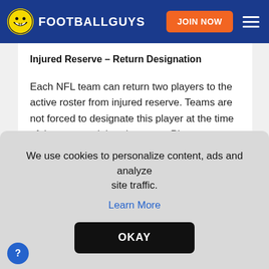FOOTBALLGUYS | JOIN NOW
Injured Reserve – Return Designation
Each NFL team can return two players to the active roster from injured reserve. Teams are not forced to designate this player at the time of the move to injured reserve. Players designated to
We use cookies to personalize content, ads and analyze site traffic.
Learn More
OKAY
and provides roster flexibility should